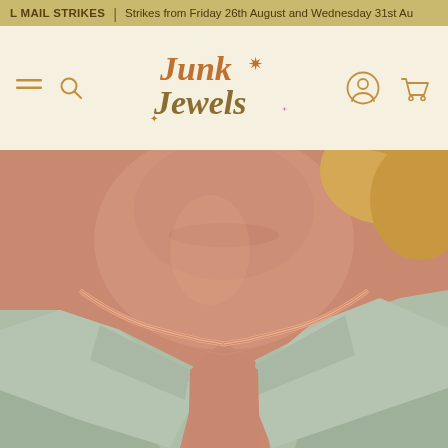L MAIL STRIKES | Strikes from Friday 26th August and Wednesday 31st Au
[Figure (logo): Junk Jewels logo in colorful retro typography with navigation icons (hamburger menu, search, account, cart)]
[Figure (photo): Close-up photo of a woman wearing a rose gold herringbone flat snake chain necklace over a light sage green blazer]